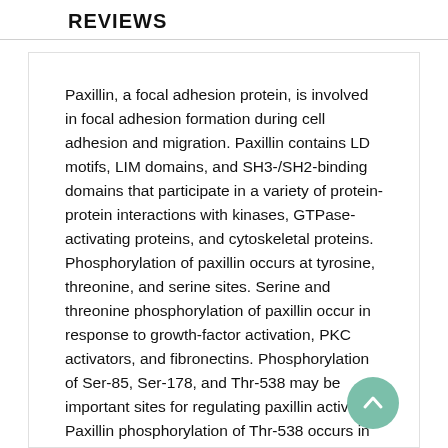REVIEWS
Paxillin, a focal adhesion protein, is involved in focal adhesion formation during cell adhesion and migration. Paxillin contains LD motifs, LIM domains, and SH3-/SH2-binding domains that participate in a variety of protein-protein interactions with kinases, GTPase-activating proteins, and cytoskeletal proteins. Phosphorylation of paxillin occurs at tyrosine, threonine, and serine sites. Serine and threonine phosphorylation of paxillin occur in response to growth-factor activation, PKC activators, and fibronectins. Phosphorylation of Ser-85, Ser-178, and Thr-538 may be important sites for regulating paxillin activity. Paxillin phosphorylation of Thr-538 occurs in response